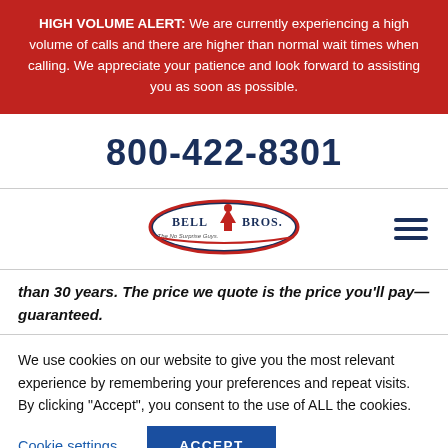HIGH VOLUME ALERT: We are currently experiencing a high volume of calls and there are higher than normal wait times when calling. We appreciate your patience and look forward to assisting you as soon as possible.
800-422-8301
[Figure (logo): Bell Bros. logo - oval shaped with blue and red colors, text reads 'Bell Bros. The No Surprise Guys.']
than 30 years. The price we quote is the price you'll pay—guaranteed.
We use cookies on our website to give you the most relevant experience by remembering your preferences and repeat visits. By clicking "Accept", you consent to the use of ALL the cookies.
Cookie settings
ACCEPT